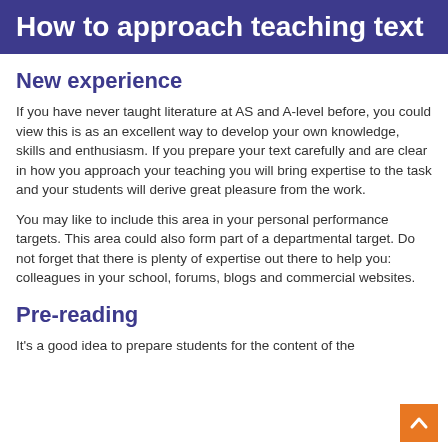How to approach teaching text
New experience
If you have never taught literature at AS and A-level before, you could view this is as an excellent way to develop your own knowledge, skills and enthusiasm. If you prepare your text carefully and are clear in how you approach your teaching you will bring expertise to the task and your students will derive great pleasure from the work.
You may like to include this area in your personal performance targets. This area could also form part of a departmental target. Do not forget that there is plenty of expertise out there to help you: colleagues in your school, forums, blogs and commercial websites.
Pre-reading
It's a good idea to prepare students for the content of the